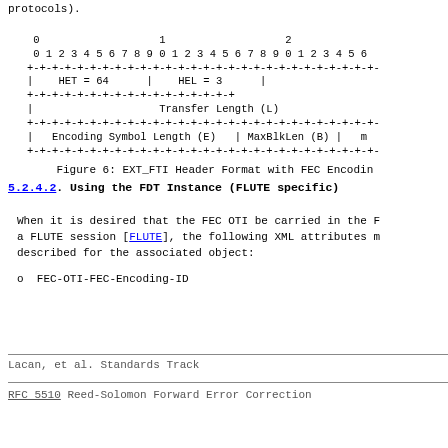protocols).
[Figure (schematic): EXT_FTI Header Format bit diagram showing fields: HET=64, HEL=3, Transfer Length (L), Encoding Symbol Length (E), MaxBlkLen (B), m - displayed as ASCII art bit field diagram with bit numbering 0-26+]
Figure 6: EXT_FTI Header Format with FEC Encoding
5.2.4.2.  Using the FDT Instance (FLUTE specific)
When it is desired that the FEC OTI be carried in the F
a FLUTE session [FLUTE], the following XML attributes m
described for the associated object:
o  FEC-OTI-FEC-Encoding-ID
Lacan, et al.                     Standards Track
RFC 5510          Reed-Solomon Forward Error Correction